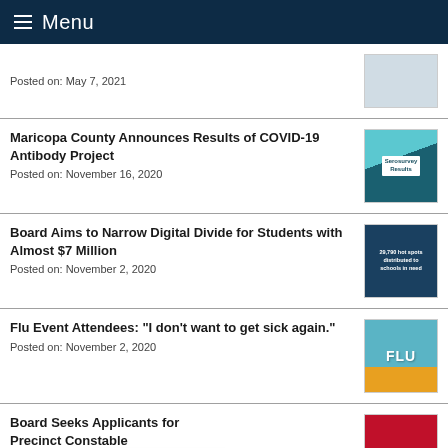Menu
Posted on: May 7, 2021
Maricopa County Announces Results of COVID-19 Antibody Project
Posted on: November 16, 2020
Board Aims to Narrow Digital Divide for Students with Almost $7 Million
Posted on: November 2, 2020
Flu Event Attendees: "I don't want to get sick again."
Posted on: November 2, 2020
Board Seeks Applicants for Precinct Constable
Posted on: October 21, 2020